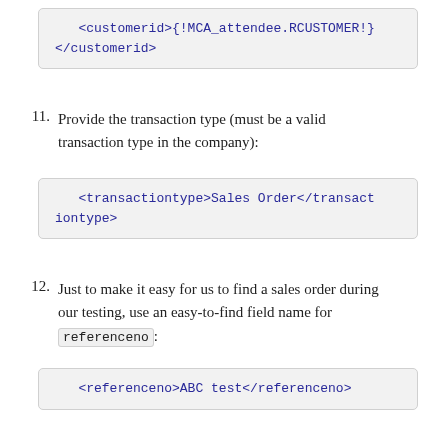[Figure (screenshot): Code box showing XML: <customerid>{!MCA_attendee.RCUSTOMER!}</customerid>]
11. Provide the transaction type (must be a valid transaction type in the company):
[Figure (screenshot): Code box showing XML: <transactiontype>Sales Order</transactiontype>]
12. Just to make it easy for us to find a sales order during our testing, use an easy-to-find field name for referenceno:
[Figure (screenshot): Code box showing XML: <referenceno>ABC test</referenceno>]
13. Fill in any other missing parameters and click Save.